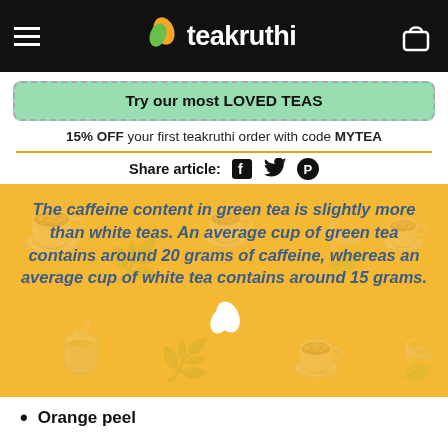[Figure (logo): Teakruthi logo with leaf icon on black navigation bar with hamburger menu and cart icon]
Try our most LOVED TEAS
15% OFF your first teakruthi order with code MYTEA
Share article:
[Figure (infographic): Yellow/orange callout box with italic bold teal/blue text reading: The caffeine content in green tea is slightly more than white teas. An average cup of green tea contains around 20 grams of caffeine, whereas an average cup of white tea contains around 15 grams. White teakruthi leaf logo at bottom center.]
Orange peel